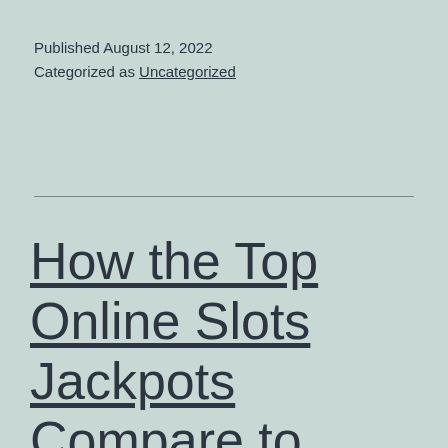Published August 12, 2022
Categorized as Uncategorized
How the Top Online Slots Jackpots Compare to Vegas' Megabucks